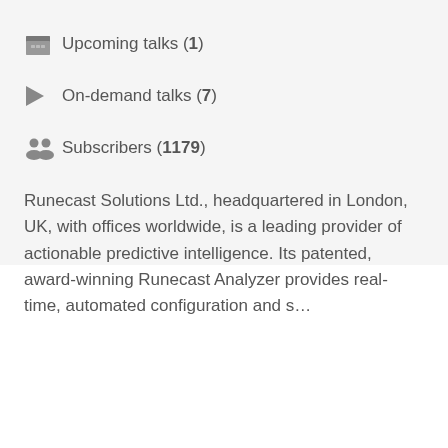Upcoming talks (1)
On-demand talks (7)
Subscribers (1179)
Runecast Solutions Ltd., headquartered in London, UK, with offices worldwide, is a leading provider of actionable predictive intelligence. Its patented, award-winning Runecast Analyzer provides real-time, automated configuration and s...